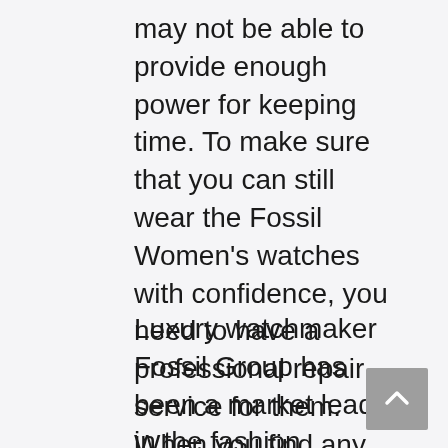may not be able to provide enough power for keeping time. To make sure that you can still wear the Fossil Women's watches with confidence, you need to have a professional repair service for them. When you find any problems on your Fossil Women's watches, such as the strap being loose or it stops working properly, take them to a qualified repair shop for good maintenance and renewal. Most of these shops are available.
Luxury watchmaker Fossil Group has been a market leader in the fashion accessories sector for almost four decades now. The company is leading a